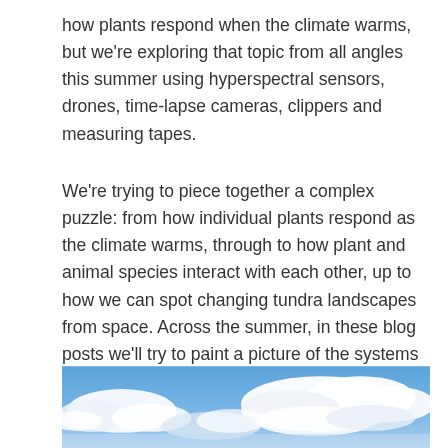how plants respond when the climate warms, but we're exploring that topic from all angles this summer using hyperspectral sensors, drones, time-lapse cameras, clippers and measuring tapes.
We're trying to piece together a complex puzzle: from how individual plants respond as the climate warms, through to how plant and animal species interact with each other, up to how we can spot changing tundra landscapes from space. Across the summer, in these blog posts we'll try to paint a picture of the systems we are studying and the things that we are finding as we battle the bugs, car troubles and belated shipments to conduct our research.
[Figure (photo): Photograph of blue sky with white clouds, partially visible at the bottom of the page.]